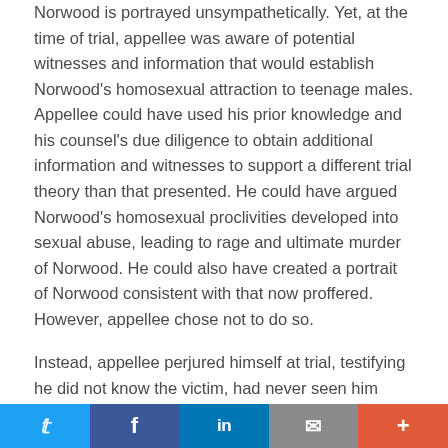Norwood is portrayed unsympathetically. Yet, at the time of trial, appellee was aware of potential witnesses and information that would establish Norwood's homosexual attraction to teenage males. Appellee could have used his prior knowledge and his counsel's due diligence to obtain additional information and witnesses to support a different trial theory than that presented. He could have argued Norwood's homosexual proclivities developed into sexual abuse, leading to rage and ultimate murder of Norwood. He could also have created a portrait of Norwood consistent with that now proffered. However, appellee chose not to do so.
Instead, appellee perjured himself at trial, testifying he did not know the victim, had never seen him before, took no part in the murder, and had no reason to be angry with him or wish to harm him. The defense he chose to present
Twitter | Facebook | LinkedIn | Email | More